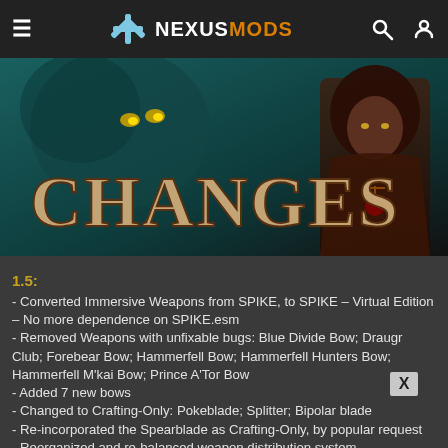NEXUSMODS
[Figure (illustration): Banner image with text 'CHANGES' in large stylized letters, showing a hooded figure and a creature on a teal/dark background.]
1.5:
- Converted Immersive Weapons from SPIKE, to SPIKE – Virtual Edition – No more dependence on SPIKE.esm
- Removed Weapons with unfixable bugs: Blue Divide Bow; Draugr Club; Forebear Bow; Hammerfell Bow; Hammerfell Hunters Bow; Hammerfell M'kai Bow; Prince A'Tor Bow
- Added 7 new bows
- Changed to Crafting-Only: Pokeblade; Splitter; Bipolar blade
- Re-incorporated the Spearblade as Crafting-Only, by popular request
- Reorganized and re-balanced weapon distribution system
- Overhauled crafting/tempering/breakdown recipes & added missing ones
- Converted all Dragonbone weapons to Dragonsteel to prevent confusion with other Dragonbone weapons
- Incorporated a fix for the vanilla Skyrim Silver Weapon bug
- Limited Imperial soldiers to appropriate 1-Handed swords